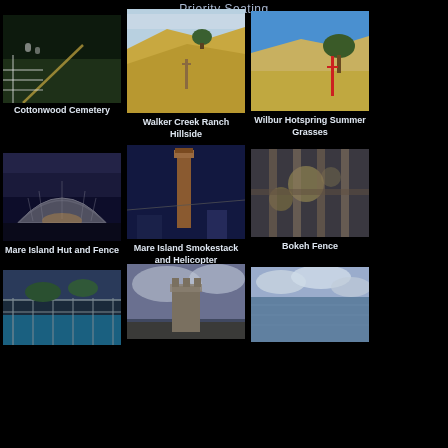Priority Seating
[Figure (photo): Cottonwood Cemetery - nighttime photo of cemetery with white fence and lit path]
Cottonwood Cemetery
[Figure (photo): Walker Creek Ranch Hillside - golden hillside with fence post and green trees]
Walker Creek Ranch Hillside
[Figure (photo): Wilbur Hotspring Summer Grasses - dry golden grasses with oak tree and red fence post under blue sky]
Wilbur Hotspring Summer Grasses
[Figure (photo): Mare Island Hut and Fence - corrugated metal quonset hut structure at dusk]
Mare Island Hut and Fence
[Figure (photo): Mare Island Smokestack and Helicopter - tall smokestack against night sky with helicopter]
Mare Island Smokestack and Helicopter
[Figure (photo): Bokeh Fence - blurred fence with bokeh lights in background]
Bokeh Fence
[Figure (photo): Swimming pool behind chain-link fence at dusk]
[Figure (photo): Stone tower or ruin against cloudy sky]
[Figure (photo): Ocean or sea view with cloudy sky]